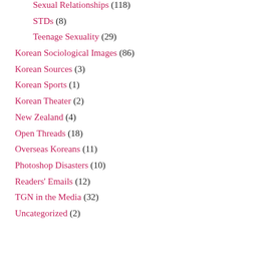Sexual Relationships (118)
STDs (8)
Teenage Sexuality (29)
Korean Sociological Images (86)
Korean Sources (3)
Korean Sports (1)
Korean Theater (2)
New Zealand (4)
Open Threads (18)
Overseas Koreans (11)
Photoshop Disasters (10)
Readers' Emails (12)
TGN in the Media (32)
Uncategorized (2)